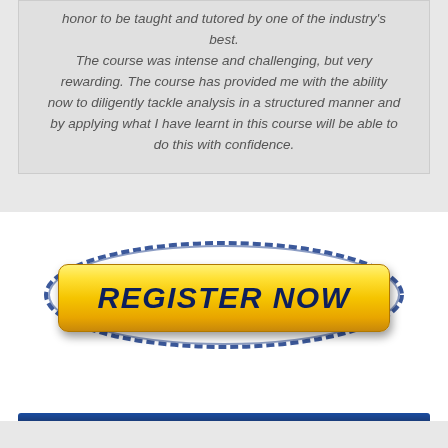honor to be taught and tutored by one of the industry's best.

The course was intense and challenging, but very rewarding. The course has provided me with the ability now to diligently tackle analysis in a structured manner and by applying what I have learnt in this course will be able to do this with confidence.
[Figure (other): Yellow rounded rectangle button with bold dark blue italic text 'REGISTER NOW', surrounded by a dark blue oval/ellipse outline on a white background]